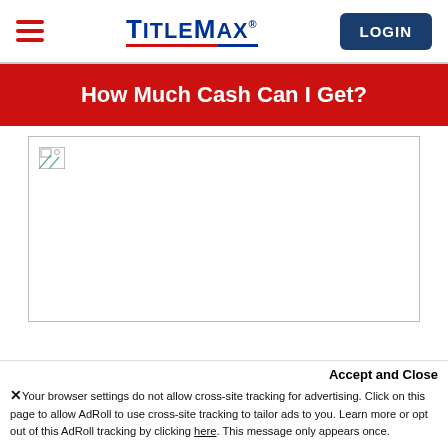TitleMax LOGIN
How Much Cash Can I Get?
[Figure (other): Broken image placeholder in a bordered content area]
Accept and Close
✕ Your browser settings do not allow cross-site tracking for advertising. Click on this page to allow AdRoll to use cross-site tracking to tailor ads to you. Learn more or opt out of this AdRoll tracking by clicking here. This message only appears once.